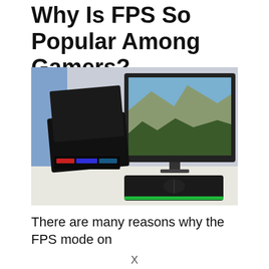Why Is FPS So Popular Among Gamers?
[Figure (photo): Gaming desk setup showing a gaming laptop with RGB keyboard on the left, a large monitor displaying a nature game scene on the right, and a gaming mouse pad with mouse in the foreground. Blue ambient lighting in background.]
There are many reasons why the FPS mode on
X